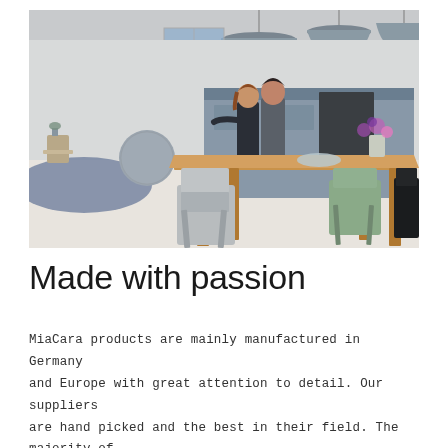[Figure (photo): Interior photo of a modern dining room / kitchen area. A wooden dining table in the center with grey and green chairs around it. Two people standing at a grey kitchen island in the background. Grey pendant lamps hanging from the ceiling. A blue rug on the floor to the left. Flowers and a small plate on the dining table.]
Made with passion
MiaCara products are mainly manufactured in Germany and Europe with great attention to detail. Our suppliers are hand picked and the best in their field. The majority of